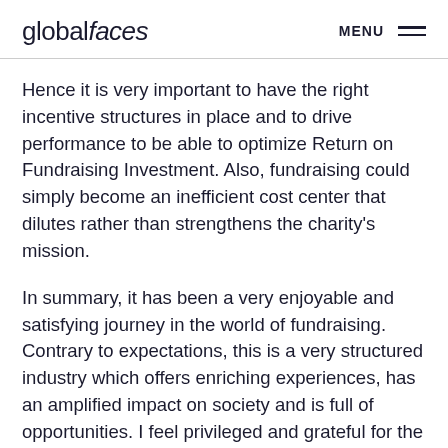globalfaces | MENU
Hence it is very important to have the right incentive structures in place and to drive performance to be able to optimize Return on Fundraising Investment. Also, fundraising could simply become an inefficient cost center that dilutes rather than strengthens the charity’s mission.
In summary, it has been a very enjoyable and satisfying journey in the world of fundraising. Contrary to expectations, this is a very structured industry which offers enriching experiences, has an amplified impact on society and is full of opportunities. I feel privileged and grateful for the chance to contribute to this sector, and more importantly make a difference for our charity